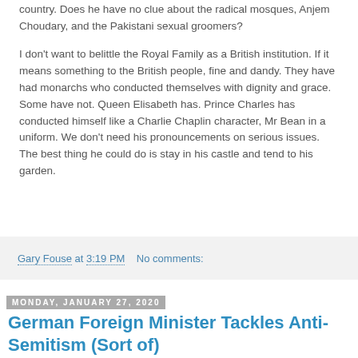country. Does he have no clue about the radical mosques, Anjem Choudary, and the Pakistani sexual groomers?
I don't want to belittle the Royal Family as a British institution. If it means something to the British people, fine and dandy. They have had monarchs who conducted themselves with dignity and grace. Some have not. Queen Elisabeth has. Prince Charles has conducted himself like a Charlie Chaplin character, Mr Bean in a uniform. We don't need his pronouncements on serious issues. The best thing he could do is stay in his castle and tend to his garden.
Gary Fouse at 3:19 PM    No comments:
Monday, January 27, 2020
German Foreign Minister Tackles Anti-Semitism (Sort of)